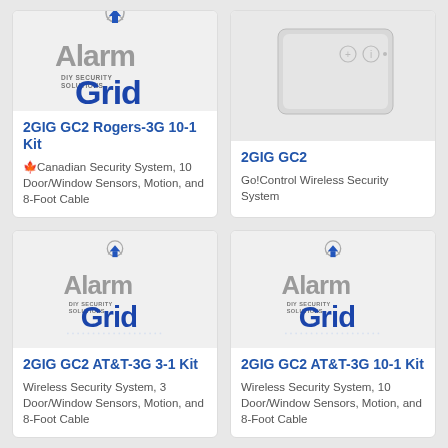[Figure (logo): Alarm Grid DIY Security Solutions logo]
2GIG GC2 Rogers-3G 10-1 Kit
🍁Canadian Security System, 10 Door/Window Sensors, Motion, and 8-Foot Cable
[Figure (photo): 2GIG GC2 GoControl Wireless Security System panel - white device]
2GIG GC2
Go!Control Wireless Security System
[Figure (logo): Alarm Grid DIY Security Solutions logo]
2GIG GC2 AT&T-3G 3-1 Kit
Wireless Security System, 3 Door/Window Sensors, Motion, and 8-Foot Cable
[Figure (logo): Alarm Grid DIY Security Solutions logo]
2GIG GC2 AT&T-3G 10-1 Kit
Wireless Security System, 10 Door/Window Sensors, Motion, and 8-Foot Cable